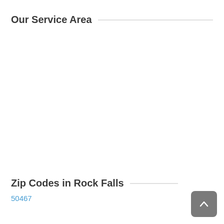Our Service Area
Zip Codes in Rock Falls
50467